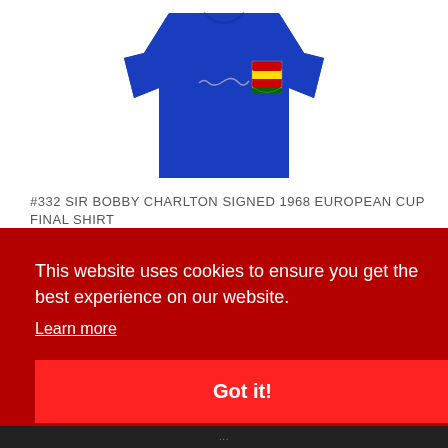[Figure (photo): Blue long-sleeve football shirt with a signature and a colorful club crest badge on the chest, displayed on white background]
#332 SIR BOBBY CHARLTON SIGNED 1968 EUROPEAN CUP FINAL SHIRT
This website uses cookies to ensure you get the best experience on our website.
Learn more
Got it!
...